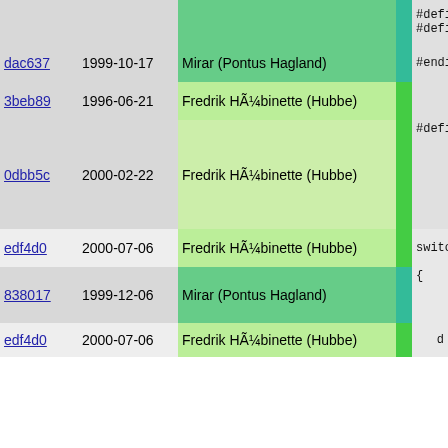| hash | date | author | sep | code |
| --- | --- | --- | --- | --- |
|  |  |  |  | #define de
#define TI |
| dac637 | 1999-10-17 | Mirar (Pontus Hagland) |  | #endif |
| 3beb89 | 1996-06-21 | Fredrik HÃ¼binette (Hubbe) |  |  |
| 0dbb5c | 2000-02-22 | Fredrik HÃ¼binette (Hubbe) |  | #define FI
    GET
    lef
    if |
| edf4d0 | 2000-07-06 | Fredrik HÃ¼binette (Hubbe) |  | switch( |
| 838017 | 1999-12-06 | Mirar (Pontus Hagland) |  | {
        case |
| edf4d0 | 2000-07-06 | Fredrik HÃ¼binette (Hubbe) |  | d |
| 838017 | 1999-12-06 | Mirar (Pontus Hagland) |  | b |
| b48f28 | 1998-03-26 | Henrik GrubbstrÃ¶m (Grubba) |  |  |
| 838017 | 1999-12-06 | Mirar (Pontus Hagland) |  | case |
| edf4d0 | 2000-07-06 | Fredrik HÃ¼binette (Hubbe) |  | d |
| 838017 | 1999-12-06 | Mirar (Pontus Hagland) |  | b
} |
| cb2256 | 1995-10-11 | Fredrik HÃ¼binette (Hubbe) |  |  |
| 0dbb5c | 2000-02-22 | Fredrik HÃ¼binette (Hubbe) |  | /* Spec
if(dela |